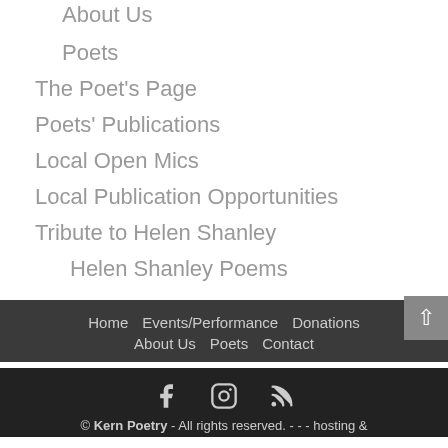About Us
Poets
The Poet's Page
Poets' Publications
Local Open Mics
Local Publication Opportunities
Tribute to Helen Shanley
Helen Shanley Poems
Contact
Home  Events/Performance  Donations  About Us  Poets  Contact
© Kern Poetry - All rights reserved. - - - hosting &